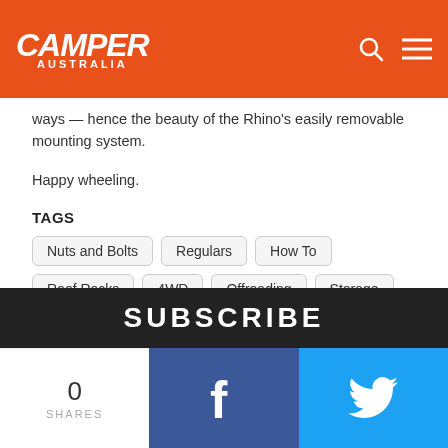CAMPER AUSTRALIA
ways — hence the beauty of the Rhino's easily removable mounting system.
Happy wheeling.
TAGS
Nuts and Bolts
Regulars
How To
Roof Racks
4WD
Offroading
Storage
SUBSCRIBE
0 SHARES